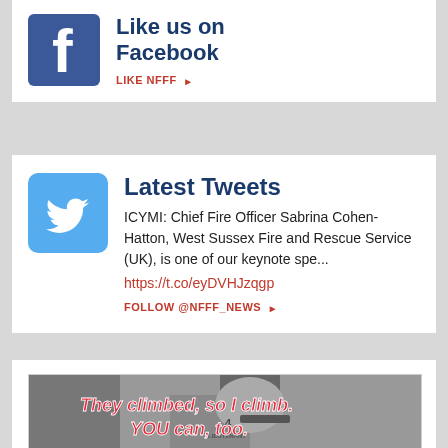[Figure (logo): Facebook logo icon - blue square with white 'f']
Like us on Facebook
LIKE NFFF ▶
[Figure (logo): Twitter bird logo icon - light blue square with white bird]
Latest Tweets
ICYMI: Chief Fire Officer Sabrina Cohen-Hatton, West Sussex Fire and Rescue Service (UK), is one of our keynote spe...
https://t.co/eyDVHJzqgp
FOLLOW @NFFF_NEWS ▶
[Figure (photo): Black and white photo of firefighter with helmet showing number 4 and text LIEUTENANT, with overlaid red italic text: They climbed, so I climb. YOU can, too.]